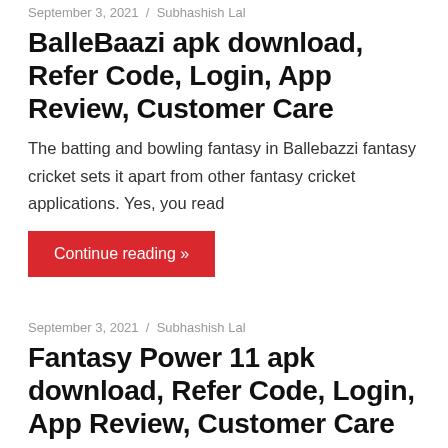September 3, 2021 / Subhashish Lal
BalleBaazi apk download, Refer Code, Login, App Review, Customer Care
The batting and bowling fantasy in Ballebazzi fantasy cricket sets it apart from other fantasy cricket applications. Yes, you read
Continue reading »
September 3, 2021 / Subhashish Lal
Fantasy Power 11 apk download, Refer Code, Login, App Review, Customer Care
Fantasy Power 11 is a fantasy app similar to Dream11 or Ballebazzi, however it differs in the title logo etc